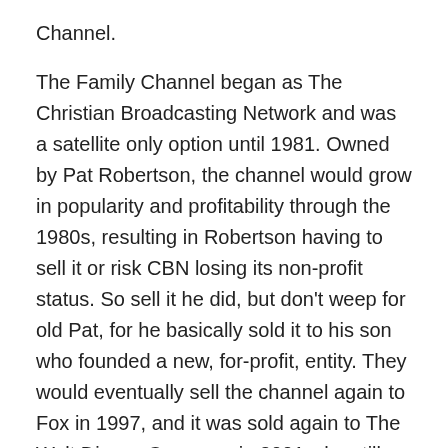Channel.
The Family Channel began as The Christian Broadcasting Network and was a satellite only option until 1981. Owned by Pat Robertson, the channel would grow in popularity and profitability through the 1980s, resulting in Robertson having to sell it or risk CBN losing its non-profit status. So sell it he did, but don't weep for old Pat, for he basically sold it to his son who founded a new, for-profit, entity. They would eventually sell the channel again to Fox in 1997, and it was sold again to The Walt Disney Company in 2001 who still owns it to this day where it has been rebranded as Freeform. The last remnant of the old CBN Family Channel is that the network still carries Robertson's show, The 700 Club, which was mandated as part of the terms of the sale. It now airs late at night at 11 PM on the east coast and contains a disclaimer before it that